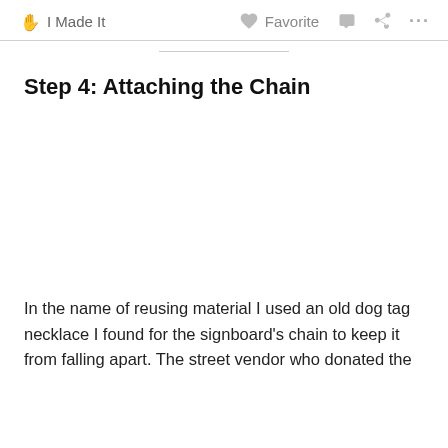✋ I Made It   ♥ Favorite  💬  ◁  ···
Step 4: Attaching the Chain
In the name of reusing material I used an old dog tag necklace I found for the signboard's chain to keep it from falling apart. The street vendor who donated the